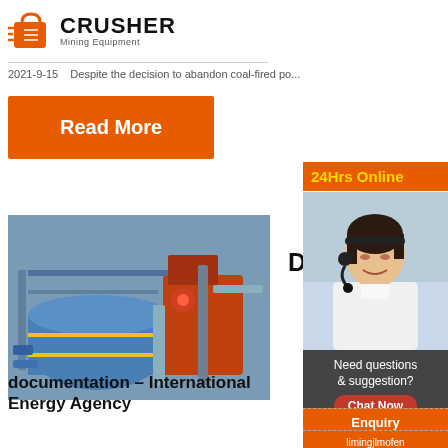[Figure (logo): Crusher Mining Equipment logo with red shopping bag icon and bold CRUSHER text]
2021-9-15    Despite the decision to abandon coal-fired po...
Read More
[Figure (photo): Aerial view of industrial mining or power plant equipment with blue cylindrical components and orange machinery]
Datab
documentation – International Energy Agency
[Figure (photo): Asian woman with headset smiling, customer service representative for 24Hrs Online support sidebar]
24Hrs Online
Need questions & suggestion?
Chat Now
Enquiry
limingjlmofen@sina.com